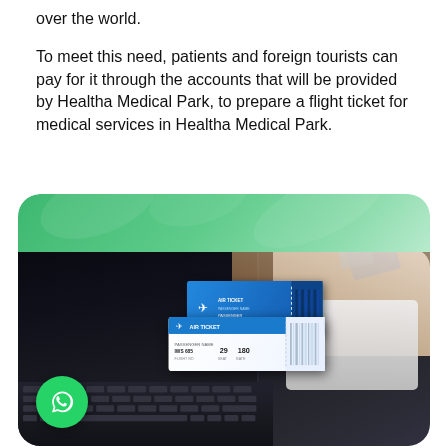over the world.
To meet this need, patients and foreign tourists can pay for it through the accounts that will be provided by Healtha Medical Park, to prepare a flight ticket for medical services in Healtha Medical Park.
[Figure (photo): A person holding blue airline boarding passes/tickets in front of a laptop computer. The tickets show details including 'WS 685 29 180'. A green WhatsApp icon button is visible in the bottom-left corner. The background has a green rounded card design at the top.]